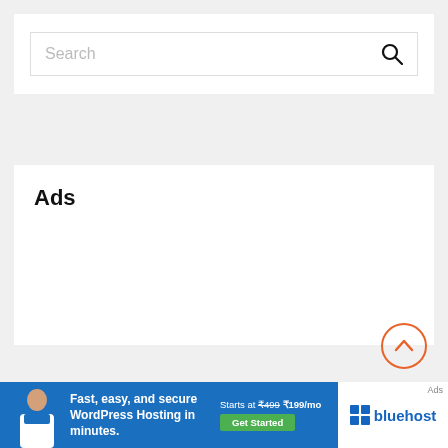[Figure (screenshot): Search widget with text input field and search icon magnifying glass]
Ads
[Figure (infographic): Back to top button - circle with upward chevron arrow in orange]
[Figure (screenshot): Bluehost advertisement banner: Fast, easy, and secure WordPress Hosting in minutes. Starts at ₹499 ₹199/mo. Bluehost logo on right side.]